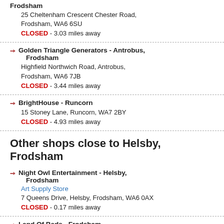Frodsham
25 Cheltenham Crescent Chester Road, Frodsham, WA6 6SU
CLOSED - 3.03 miles away
Golden Triangle Generators - Antrobus, Frodsham
Highfield Northwich Road, Antrobus, Frodsham, WA6 7JB
CLOSED - 3.44 miles away
BrightHouse - Runcorn
15 Stoney Lane, Runcorn, WA7 2BY
CLOSED - 4.93 miles away
Other shops close to Helsby, Frodsham
Night Owl Entertainment - Helsby, Frodsham
Art Supply Store
7 Queens Drive, Helsby, Frodsham, WA6 0AX
CLOSED - 0.17 miles away
Land Of Beds - Frodsham
Bed Shop
98 Chester Road, Frodsham, WA6
CLOSED - 0.22 miles away
Dress4Less - Helsby